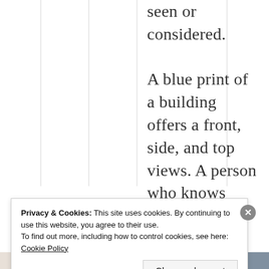seen or considered. A blue print of a building offers a front, side, and top views. A person who knows how to read a
Privacy & Cookies: This site uses cookies. By continuing to use this website, you agree to their use. To find out more, including how to control cookies, see here: Cookie Policy
Close and accept